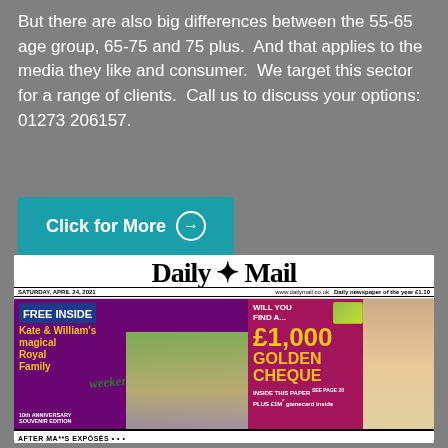But there are also big differences between the 55-65 age group, 65-75 and 75 plus.  And that applies to the media they like and consumer.  We target this sector for a range of clients.  Call us to discuss your options: 01273 206157.
[Figure (other): Teal/cyan button with bold white text 'Click for More' and a circled arrow icon on the right]
[Figure (photo): Daily Mail newspaper front page dated Saturday, April 24, 2021. Headlines include 'FREE INSIDE Kate & William's magical Royal Family 10th Anniversary Souvenir Edition', 'weekend' overlay, and 'WILL YOU FIND A... £1,000 GOLDEN CHEQUE INSIDE THIS PAPER PLUS £1M gamecard inside'. Bottom bar shows partial headline text.]